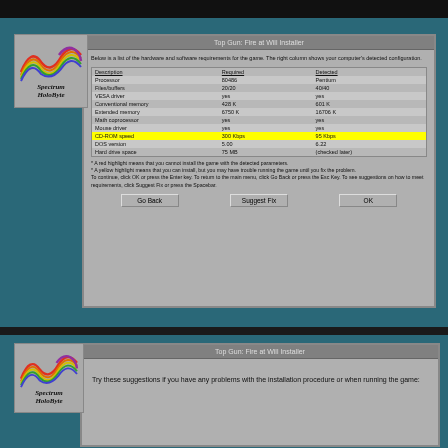[Figure (screenshot): Top Gun: Fire at Will Installer dialog showing hardware and software requirements table with CD-ROM speed row highlighted in yellow. Shows Description, Required, and Detected columns. Logo of Spectrum HoloByte in top-left corner. Buttons: Go Back, Suggest Fix, OK.]
[Figure (screenshot): Second Top Gun: Fire at Will Installer dialog with Spectrum HoloByte logo and text beginning 'Try these suggestions if you have any problems with the installation procedure or when running the game:']